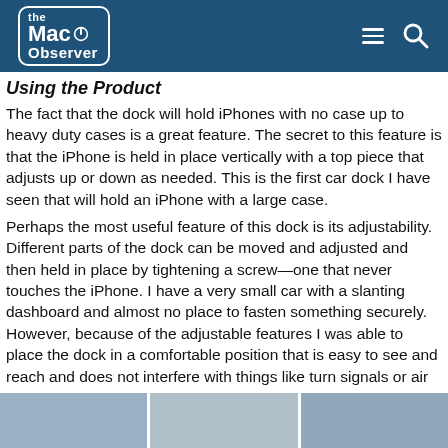The Mac Observer
Using the Product
The fact that the dock will hold iPhones with no case up to heavy duty cases is a great feature. The secret to this feature is that the iPhone is held in place vertically with a top piece that adjusts up or down as needed. This is the first car dock I have seen that will hold an iPhone with a large case.
Perhaps the most useful feature of this dock is its adjustability. Different parts of the dock can be moved and adjusted and then held in place by tightening a screw—one that never touches the iPhone. I have a very small car with a slanting dashboard and almost no place to fasten something securely. However, because of the adjustable features I was able to place the dock in a comfortable position that is easy to see and reach and does not interfere with things like turn signals or air vents.
[Figure (photo): Three partial photo thumbnails at bottom of page showing product or installation images]